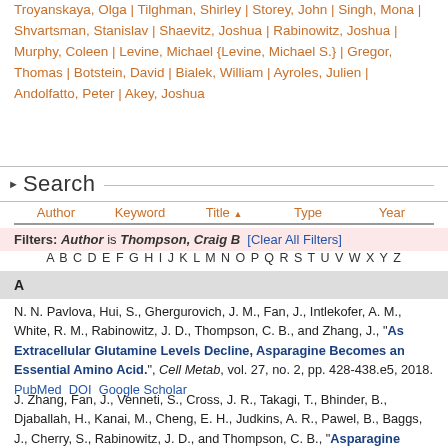Troyanskaya, Olga | Tilghman, Shirley | Storey, John | Singh, Mona | Shvartsman, Stanislav | Shaevitz, Joshua | Rabinowitz, Joshua | Murphy, Coleen | Levine, Michael {Levine, Michael S.} | Gregor, Thomas | Botstein, David | Bialek, William | Ayroles, Julien | Andolfatto, Peter | Akey, Joshua
Search
Author   Keyword   Title ▲   Type   Year
Filters: Author is Thompson, Craig B  [Clear All Filters]
A B C D E F G H I J K L M N O P Q R S T U V W X Y Z
A
N. N. Pavlova, Hui, S., Ghergurovich, J. M., Fan, J., Intlekofer, A. M., White, R. M., Rabinowitz, J. D., Thompson, C. B., and Zhang, J., "As Extracellular Glutamine Levels Decline, Asparagine Becomes an Essential Amino Acid.", Cell Metab, vol. 27, no. 2, pp. 428-438.e5, 2018. PubMed DOI Google Scholar
J. Zhang, Fan, J., Venneti, S., Cross, J. R., Takagi, T., Bhinder, B., Djaballah, H., Kanai, M., Cheng, E. H., Judkins, A. R., Pawel, B., Baggs, J., Cherry, S., Rabinowitz, J. D., and Thompson, C. B., "Asparagine plays a critical role in regulating cellular adaptation to